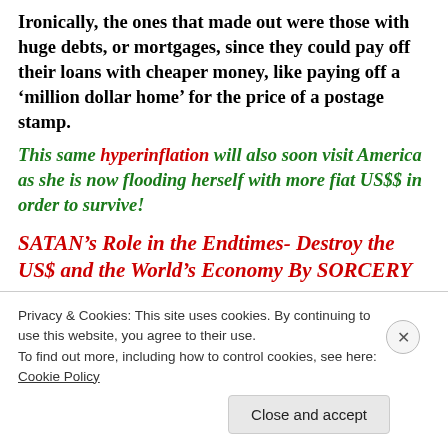Ironically, the ones that made out were those with huge debts, or mortgages, since they could pay off their loans with cheaper money, like paying off a ‘million dollar home’ for the price of a postage stamp.
This same hyperinflation will also soon visit America as she is now flooding herself with more fiat US$$ in order to survive!
SATAN’s Role in the Endtimes- Destroy the US$ and the World’s Economy By SORCERY
[partially visible/cutoff text]
Privacy & Cookies: This site uses cookies. By continuing to use this website, you agree to their use.
To find out more, including how to control cookies, see here: Cookie Policy